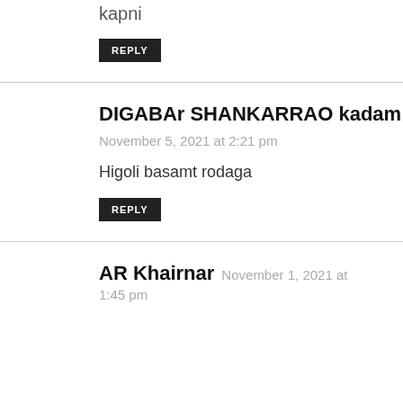kapni
REPLY
DIGABAr SHANKARRAO kadam  November 5, 2021 at 2:21 pm
Higoli basamt rodaga
REPLY
AR Khairnar  November 1, 2021 at 1:45 pm